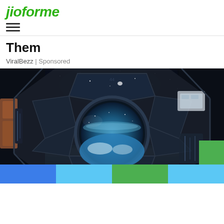jioforme
Them
ViralBezz | Sponsored
[Figure (photo): View from inside the International Space Station cupola module showing circular window with Earth and stars visible outside, surrounded by dark interior structure and equipment.]